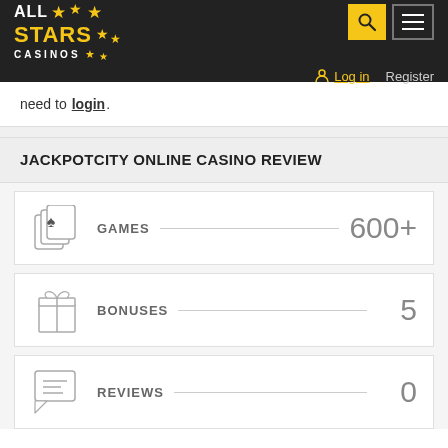ALL STARS CASINOS — Log in | Register
need to login.
JACKPOTCITY ONLINE CASINO REVIEW
GAMES — 600+
BONUSES — 5
REVIEWS — 0